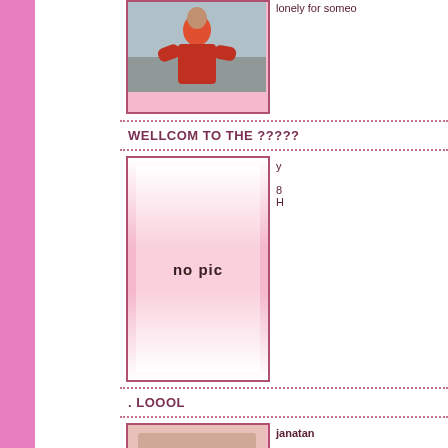[Figure (photo): Profile photo of a person in a red hoodie standing outdoors on a street, with pink fill below]
lonely for someo...
WELLCOM TO THE ?????
[Figure (photo): No pic placeholder image with pink gradient border]
ya
8...
H...
. LOOOL
[Figure (photo): Partial photo placeholder at bottom]
janatan
40 y/o male fro...
...send me mes...